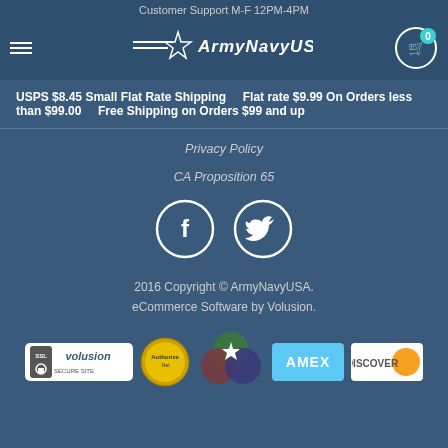Customer Support M-F 12PM-4PM
USPS $8.45 Small Flat Rate Shipping   Flat rate $9.99 On Orders less than $99.00   Free Shipping on Orders $99 and up
Privacy Policy
CA Proposition 65
[Figure (illustration): Facebook and Twitter social media circle icon buttons]
2016 Copyright © ArmyNavyUSA. eCommerce Software by Volusion.
[Figure (logo): Trust badges row: Volusion SSL Secure Site, Authorize.Net, ArmyNavyUSA star logo, AMEX, Discover]